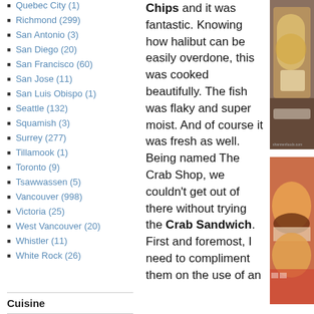Quebec City (1)
Richmond (299)
San Antonio (3)
San Diego (20)
San Francisco (60)
San Jose (11)
San Luis Obispo (1)
Seattle (132)
Squamish (3)
Surrey (277)
Tillamook (1)
Toronto (9)
Tsawwassen (5)
Vancouver (998)
Victoria (25)
West Vancouver (20)
Whistler (11)
White Rock (26)
Cuisine
Chips and it was fantastic.  Knowing how halibut can be easily overdone, this was cooked beautifully.  The fish was flaky and super moist.  And of course it was fresh as well.  Being named The Crab Shop, we couldn't get out of there without trying the Crab Sandwich.  First and foremost, I need to compliment them on the use of an
[Figure (photo): Photo of fish and chips in a paper tray with dipping sauce]
[Figure (photo): Photo of a crab sandwich on a bun with red checkered paper]